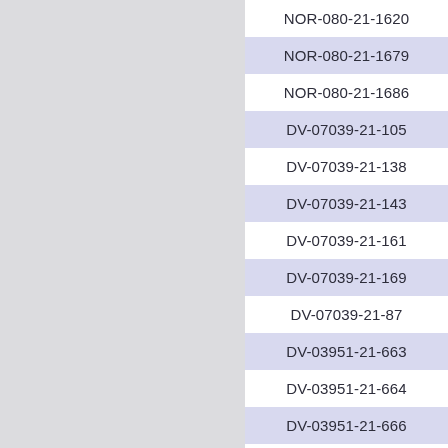NOR-080-21-1620
NOR-080-21-1679
NOR-080-21-1686
DV-07039-21-105
DV-07039-21-138
DV-07039-21-143
DV-07039-21-161
DV-07039-21-169
DV-07039-21-87
DV-03951-21-663
DV-03951-21-664
DV-03951-21-666